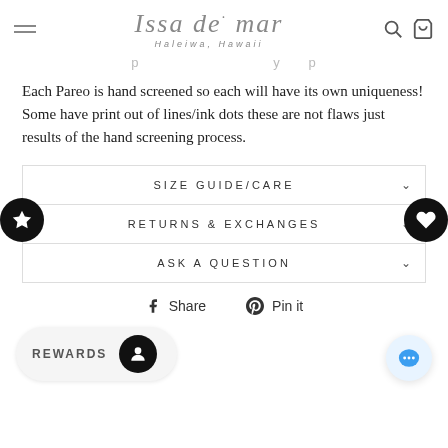Issa de mar — Haleiwa, Hawaii
...p ... y p
Each Pareo is hand screened so each will have its own uniqueness! Some have print out of lines/ink dots these are not flaws just results of the hand screening process.
SIZE GUIDE/CARE
RETURNS & EXCHANGES
ASK A QUESTION
Share   Pin it